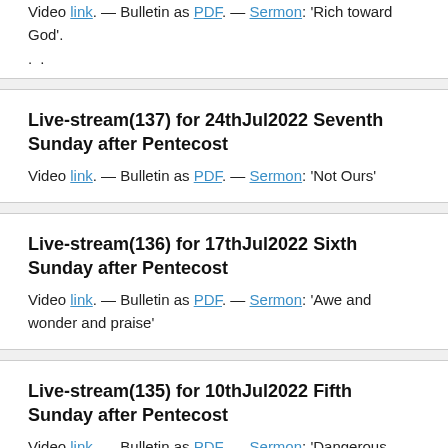Video link. — Bulletin as PDF. — Sermon: 'Rich toward God'. .
Live-stream(137) for 24thJul2022 Seventh Sunday after Pentecost
Video link. — Bulletin as PDF. — Sermon: 'Not Ours'
Live-stream(136) for 17thJul2022 Sixth Sunday after Pentecost
Video link. — Bulletin as PDF. — Sermon: 'Awe and wonder and praise'
Live-stream(135) for 10thJul2022 Fifth Sunday after Pentecost
Video link. — Bulletin as PDF. — Sermon: 'Dangerous